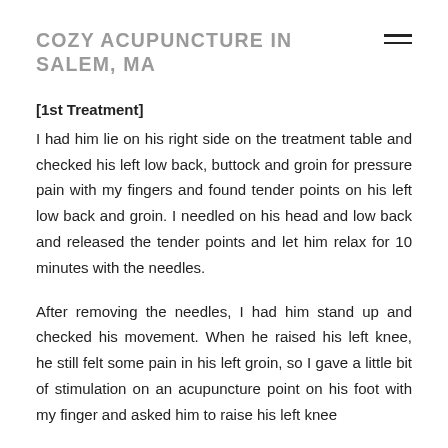COZY ACUPUNCTURE IN SALEM, MA
[1st Treatment]
I had him lie on his right side on the treatment table and checked his left low back, buttock and groin for pressure pain with my fingers and found tender points on his left low back and groin. I needled on his head and low back and released the tender points and let him relax for 10 minutes with the needles.
After removing the needles, I had him stand up and checked his movement. When he raised his left knee, he still felt some pain in his left groin, so I gave a little bit of stimulation on an acupuncture point on his foot with my finger and asked him to raise his left knee